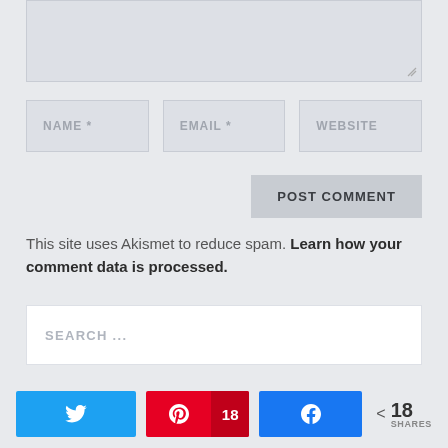[Figure (screenshot): Textarea input stub showing a partially visible comment text area with resize handle]
[Figure (screenshot): Three input fields: NAME *, EMAIL *, WEBSITE]
[Figure (screenshot): POST COMMENT button]
This site uses Akismet to reduce spam. Learn how your comment data is processed.
[Figure (screenshot): Search box with placeholder SEARCH ...]
RECENT POSTS
[Figure (screenshot): Social share bar with Twitter button, Pinterest button with count 18, Facebook button, and share count 18 SHARES]